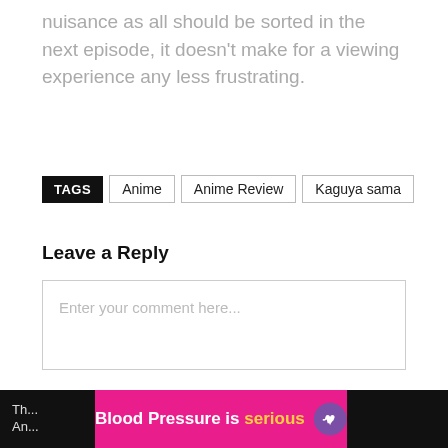nuisance as all should be sorted in the next episode, it doesn’t make for a viewing experience any less frustrating.
TAGS  Anime  Anime Review  Kaguya sama
Leave a Reply
Enter your comment here...
RELATED
[Figure (other): Advertisement banner: Blood Pressure is serious with a purple heart logo]
review...